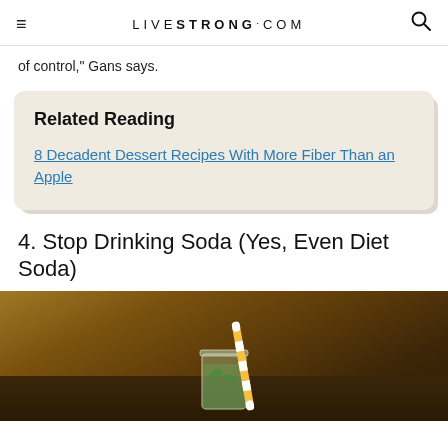LIVESTRONG.COM
of control," Gans says.
Related Reading
8 Decadent Dessert Recipes With More Fiber Than an Apple
4. Stop Drinking Soda (Yes, Even Diet Soda)
[Figure (photo): A glass mason jar with a green drink and an orange and white striped straw, on a dark wooden surface]